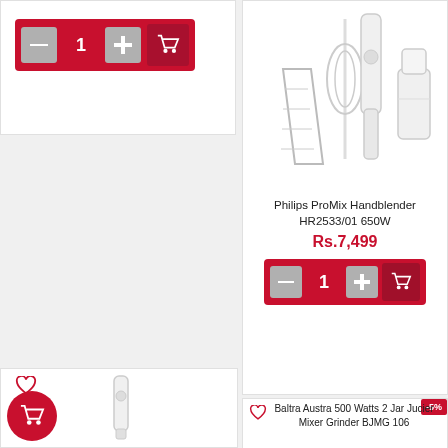[Figure (screenshot): Add to cart bar with minus button, quantity 1, plus button, and cart icon on red background]
[Figure (photo): Philips ProMix Handblender HR2533/01 650W product image showing blender set with whisk, beaker, blender stick, and chopper]
Philips ProMix Handblender HR2533/01 650W
Rs.7,499
[Figure (screenshot): Add to cart bar with minus button, quantity 1, plus button, and cart icon on red background]
[Figure (screenshot): -5% discount badge]
[Figure (photo): Heart icon and shopping cart circle button for bottom left product]
[Figure (photo): Small blender product image in bottom left card]
Baltra Austra 500 Watts 2 Jar Jucier Mixer Grinder BJMG 106
Rs.7,175  Rs.6,820